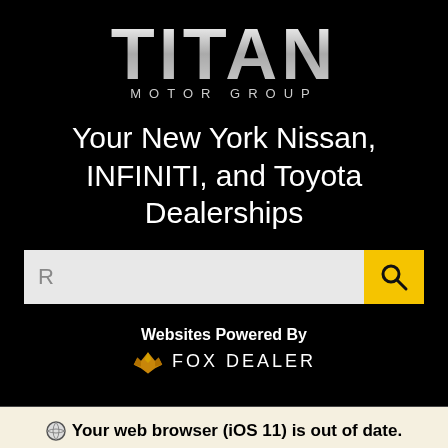[Figure (logo): Titan Motor Group logo with large white 'TITAN' text and 'MOTOR GROUP' subtitle on black background]
Your New York Nissan, INFINITI, and Toyota Dealerships
[Figure (screenshot): Search bar with light gray input field showing 'R' placeholder and yellow search button with magnifying glass icon]
[Figure (logo): Fox Dealer logo with orange fox wings icon and 'FOX DEALER' text, preceded by 'Websites Powered By' label]
Your web browser (iOS 11) is out of date. Update your browser for more security, speed and the best experience on this site.
Update browser   Ignore